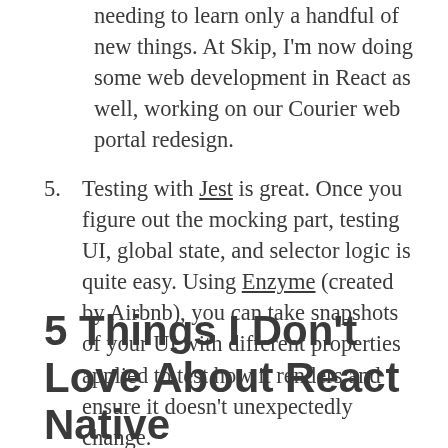needing to learn only a handful of new things. At Skip, I'm now doing some web development in React as well, working on our Courier web portal redesign.
Testing with Jest is great. Once you figure out the mocking part, testing UI, global state, and selector logic is quite easy. Using Enzyme (created by Airbnb), you can take snapshots of your UI with different properties applied to test how it renders and ensure it doesn't unexpectedly change.
5 Things I Don't Love About React Native